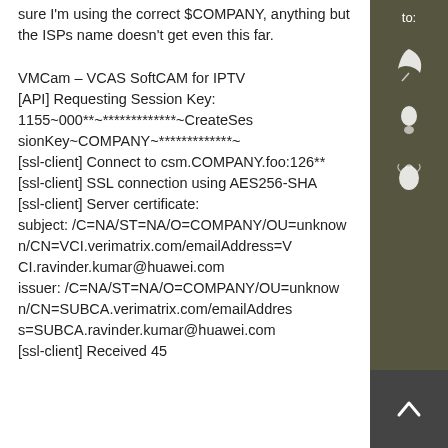sure I'm using the correct $COMPANY, anything but the ISPs name doesn't get even this far.
VMCam – VCAS SoftCAM for IPTV
[API] Requesting Session Key: 1155~000**~*************~CreateSessionKey~COMPANY~*************~
[ssl-client] Connect to csm.COMPANY.foo:126**
[ssl-client] SSL connection using AES256-SHA
[ssl-client] Server certificate:
subject: /C=NA/ST=NA/O=COMPANY/OU=unknown/CN=VCI.verimatrix.com/emailAddress=VCI.ravinder.kumar@huawei.com
issuer: /C=NA/ST=NA/O=COMPANY/OU=unknown/CN=SUBCA.verimatrix.com/emailAddress=SUBCA.ravinder.kumar@huawei.com
[ssl-client] Received 45